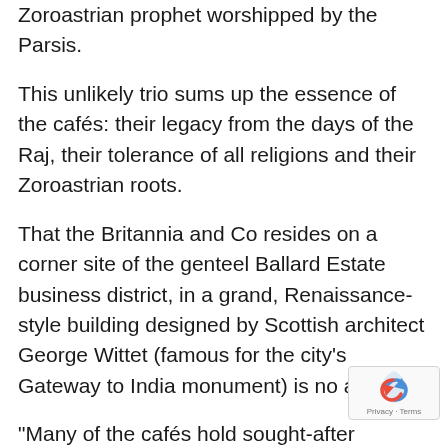Zoroastrian prophet worshipped by the Parsis.
This unlikely trio sums up the essence of the cafés: their legacy from the days of the Raj, their tolerance of all religions and their Zoroastrian roots.
That the Britannia and Co resides on a corner site of the genteel Ballard Estate business district, in a grand, Renaissance-style building designed by Scottish architect George Wittet (famous for the city's Gateway to India monument) is no accident.
“Many of the cafés hold sought-after positions in prime real estate,” says Shamil.
“Hindus are superstitious about building on street corners, but the Parsis didn’t mind. That’s why they became such shared spaces